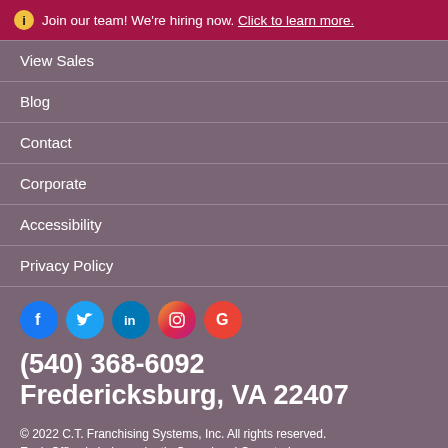Join our team! We're hiring now. Click to learn more.
View Sales
Blog
Contact
Corporate
Accessibility
Privacy Policy
[Figure (infographic): Social media icons: Facebook, Twitter, LinkedIn, Instagram, Google]
(540) 368-6092
Fredericksburg, VA 22407
© 2022 C.T. Franchising Systems, Inc. All rights reserved. Each Office is Independently Owned and Operated.